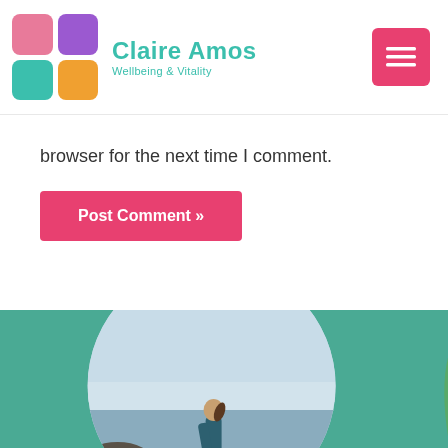Claire Amos — Wellbeing & Vitality
browser for the next time I comment.
Post Comment »
[Figure (photo): Circular cropped photo of a woman standing on a rocky beach looking out to sea, set against a teal background with a green leaf partially visible on the right edge.]